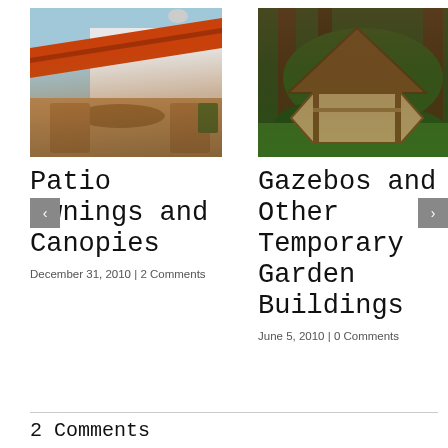[Figure (photo): Patio with orange/red retractable awning over outdoor furniture including wooden chairs and table]
[Figure (photo): Wooden gazebo structure surrounded by lush green garden with trees and shrubs]
Patio Awnings and Canopies
December 31, 2010  |  2 Comments
Gazebos and Other Temporary Garden Buildings
June 5, 2010  |  0 Comments
2 Comments